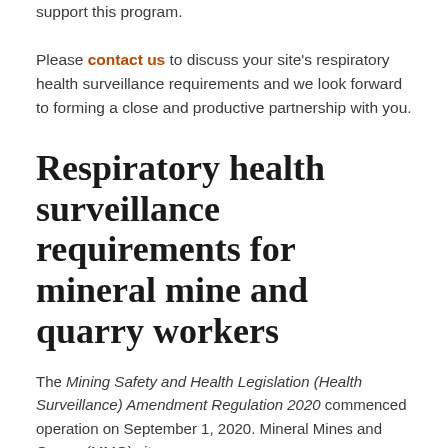support this program.

Please contact us to discuss your site's respiratory health surveillance requirements and we look forward to forming a close and productive partnership with you.
Respiratory health surveillance requirements for mineral mine and quarry workers
The Mining Safety and Health Legislation (Health Surveillance) Amendment Regulation 2020 commenced operation on September 1, 2020. Mineral Mines and Quarry (MMQ) sites